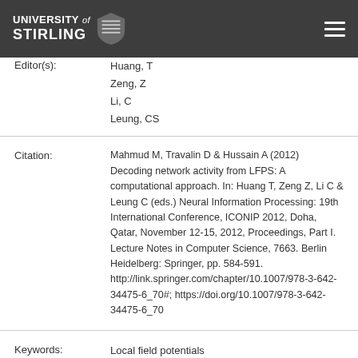University of Stirling
| Field | Value |
| --- | --- |
| Editor(s): | Huang, T
Zeng, Z
Li, C
Leung, CS |
| Citation: | Mahmud M, Travalin D & Hussain A (2012) Decoding network activity from LFPS: A computational approach. In: Huang T, Zeng Z, Li C & Leung C (eds.) Neural Information Processing: 19th International Conference, ICONIP 2012, Doha, Qatar, November 12-15, 2012, Proceedings, Part I. Lecture Notes in Computer Science, 7663. Berlin Heidelberg: Springer, pp. 584-591. http://link.springer.com/chapter/10.1007/978-3-642-34475-6_70#; https://doi.org/10.1007/978-3-642-34475-6_70 |
| Keywords: | Local field potentials
current source density
brain activity |